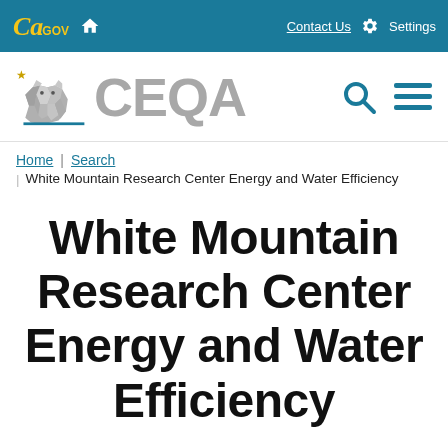CA.GOV | Home | Contact Us | Settings
[Figure (logo): CEQA California state website logo with bear icon and CEQA text, plus search and menu icons]
Home | Search | White Mountain Research Center Energy and Water Efficiency
White Mountain Research Center Energy and Water Efficiency